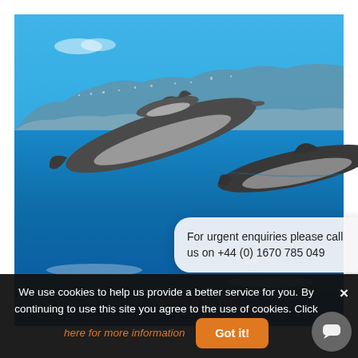[Figure (photo): Dolphins leaping out of the ocean with a coastal city and mountains in the background under a blue sky.]
For urgent enquiries please call us on +44 (0) 1670 785 049
If you'd prefer we more cli... Madeira is for you.
We use cookies to help us provide a better service for you. By continuing to use this site you agree to the use of cookies. Click here for more information  Got it!